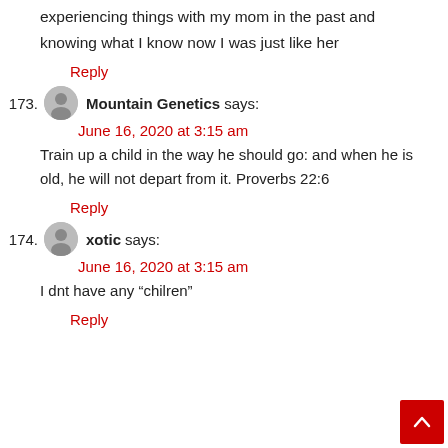experiencing things with my mom in the past and knowing what I know now I was just like her
Reply
173. Mountain Genetics says:
June 16, 2020 at 3:15 am
Train up a child in the way he should go: and when he is old, he will not depart from it. Proverbs 22:6
Reply
174. xotic says:
June 16, 2020 at 3:15 am
I dnt have any “chilren”
Reply